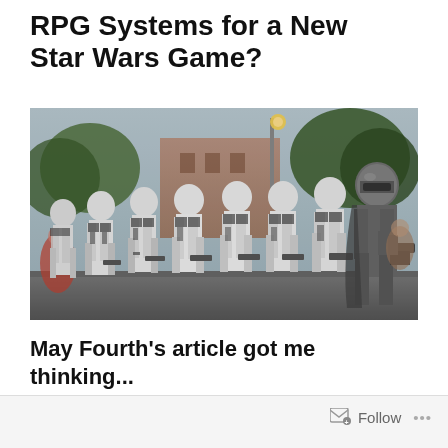RPG Systems for a New Star Wars Game?
[Figure (photo): A line of Stormtroopers in full white armor marching in formation outdoors, with a dark-armored Captain Phasma figure at the right. The setting appears to be a theme park or public parade in daylight with trees and buildings in background.]
May Fourth's article got me thinking...
Follow ...